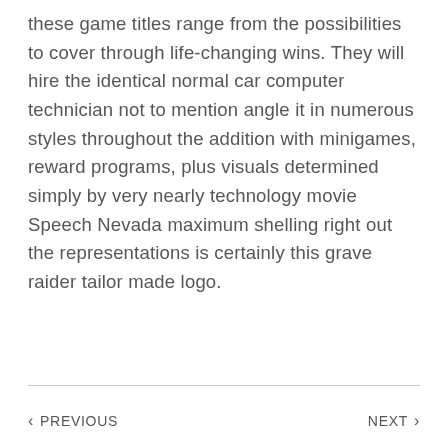these game titles range from the possibilities to cover through life-changing wins. They will hire the identical normal car computer technician not to mention angle it in numerous styles throughout the addition with minigames, reward programs, plus visuals determined simply by very nearly technology movie Speech Nevada maximum shelling right out the representations is certainly this grave raider tailor made logo.
< PREVIOUS   NEXT >